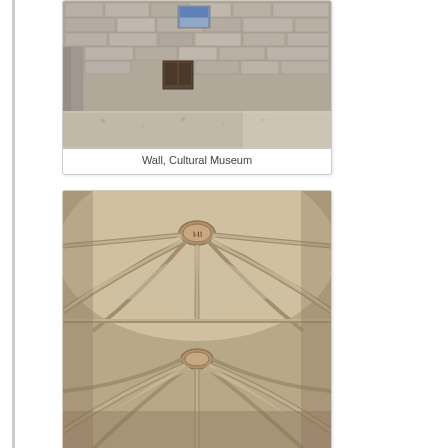[Figure (photo): Photograph of a stone courtyard wall with arches at a Cultural Museum. The wall is made of large limestone blocks. There is a small window with a blue sky visible near the top, and a small dark wooden door or panel in the middle of the wall. The foreground shows a gravel or cobblestone floor with dramatic lighting.]
Wall, Cultural Museum
[Figure (photo): Photograph of gothic vaulted stone ceiling with ribbed arches. The ceiling shows two bays of cross-vaulting with decorative keystones/bosses at the intersection of the ribs. The stone is beige/tan colored. The ribs converge in elegant curves typical of Gothic architecture.]